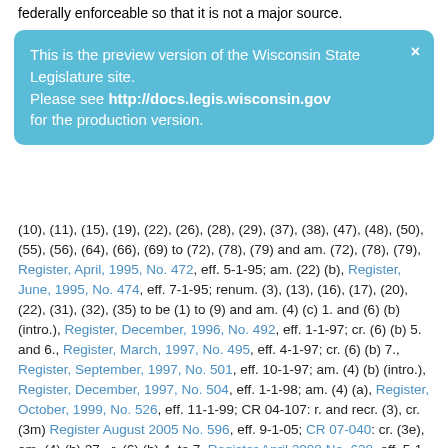federally enforceable so that it is not a major source.
This is the preview version of the Wisconsin State Legislature site. Please see http://docs.legis.wisconsin.gov for the production version.
(10), (11), (15), (19), (22), (26), (28), (29), (37), (38), (47), (48), (50), (55), (56), (64), (66), (69) to (72), (78), (79) and am. (72), (78), (79), Register, April, 1995, No. 472, eff. 5-1-95; am. (22) (b), Register, June, 1995, No. 474, eff. 7-1-95; renum. (3), (13), (16), (17), (20), (22), (31), (32), (35) to be (1) to (9) and am. (4) (c) 1. and (6) (b) (intro.), Register, December, 1996, No. 492, eff. 1-1-97; cr. (6) (b) 5. and 6., Register, March, 1997, No. 495, eff. 4-1-97; cr. (6) (b) 7., Register, September, 1997, No. 501, eff. 10-1-97; am. (4) (b) (intro.), Register, December, 1997, No. 504, eff. 1-1-98; am. (4) (a), Register, October, 1999, No. 526, eff. 11-1-99; CR 04-107: r. and recr. (3), cr. (3m) Register August 2005 No. 596, eff. 9-1-05; CR 07-040: cr. (3e), am. (4) (b) 27., r. (6) (b) 4. to 7. Register April 2008 No. 628, eff. 5-1-08; CR 07-104: am. (4) (b) 20. Register July 2008 No. 631, eff. 8-1-08; CR 09-020: am. (4) (a), (b) 27., (c) (intro.), 1., 2. and (6) (a) 2., 3., and (b) 3., cr. (6m) Register January 2010 No. 649, eff. 2-1-10; EmR1046: emerg. am. (4) (b) (intro.), cr. (8m), eff. 12-15-10; CR 10-144: am. (4) (b) (intro.), cr. (8m) Register August 2011 No. 668, eff. 9-1-11; CR 15-005: am. (4) (b) 27., cr. (4m) Register November 2015 No. 719, eff. 12-1-15; CR 19-015: am. (9) Register September 2020 No. 777, eff. 10-1-20; CR 21-022: renum. (4) (c) 1. to (4) (c) 1. (intro.) and a. and cr. (4) (c) 1. b. Register February 2022 No. 794, eff. 3-1-22; correction in (4) (c) 1. b. made under s. 35.17, Stats., Register